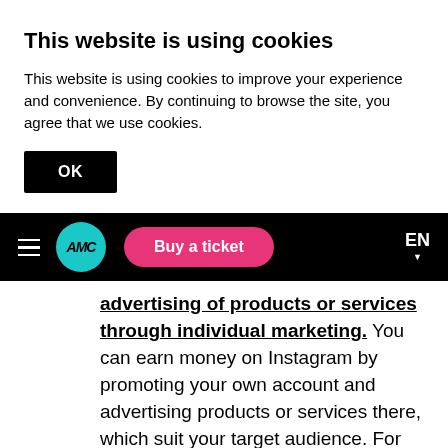This website is using cookies
This website is using cookies to improve your experience and convenience. By continuing to browse the site, you agree that we use cookies.
OK
[Figure (screenshot): Black navigation bar with hamburger menu icon, AMC logo (teal circle), pink 'Buy a ticket' button, and EN language selector]
advertising of products or services through individual marketing. You can earn money on Instagram by promoting your own account and advertising products or services there, which suit your target audience. For example, if you write about business development and investments in your account, you can advertise training courses, services of analysts, coaches. You can use either direct advertising or a product placement approach;